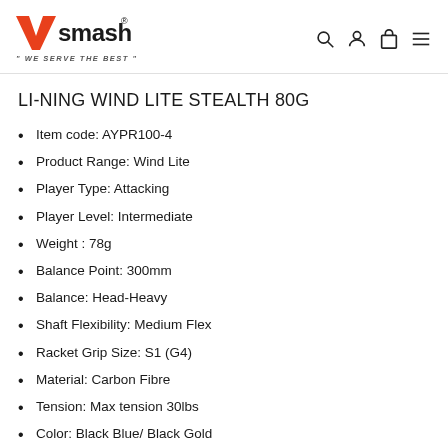Vsmash — WE SERVE THE BEST
LI-NING WIND LITE STEALTH 80G
Item code: AYPR100-4
Product Range: Wind Lite
Player Type: Attacking
Player Level: Intermediate
Weight : 78g
Balance Point: 300mm
Balance: Head-Heavy
Shaft Flexibility: Medium Flex
Racket Grip Size: S1 (G4)
Material: Carbon Fibre
Tension: Max tension 30lbs
Color: Black Blue/ Black Gold
Features: High Tensile Slim Shaft, Compressed Groove Technology, Dynamic Optimum Frame, Super Light Technology